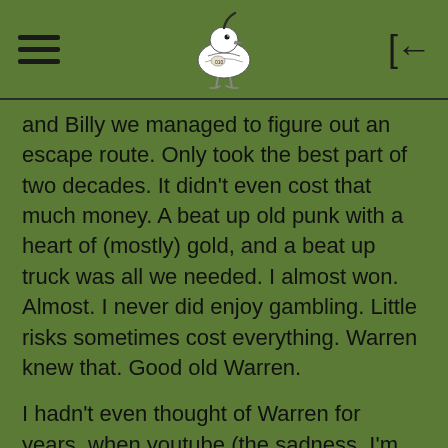[hamburger menu] [bird logo] [back arrow]
and Billy we managed to figure out an escape route. Only took the best part of two decades. It didn’t even cost that much money. A beat up old punk with a heart of (mostly) gold, and a beat up truck was all we needed. I almost won. Almost. I never did enjoy gambling. Little risks sometimes cost everything. Warren knew that. Good old Warren.
I hadn’t even thought of Warren for years, when youtube (the sadness, I’m left listening on soulless computer speakers, the indignity!) suggested Splendid Isolation. I want to live in the desert like Georgia O’Keeffe, don’t tell...